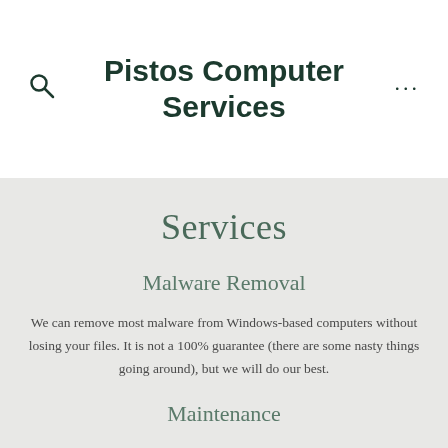Pistos Computer Services
Services
Malware Removal
We can remove most malware from Windows-based computers without losing your files. It is not a 100% guarantee (there are some nasty things going around), but we will do our best.
Maintenance